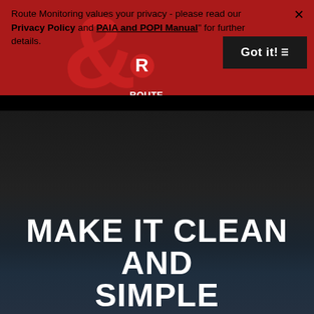Route Monitoring values your privacy - please read our Privacy Policy and PAIA and POPI Manual" for further details.
[Figure (logo): Route Monitoring logo with large R lettermark and text 'ROUTE MONITORING - Innovative. Smart. Trusted.']
Got it!
MAKE IT CLEAN AND SIMPLE